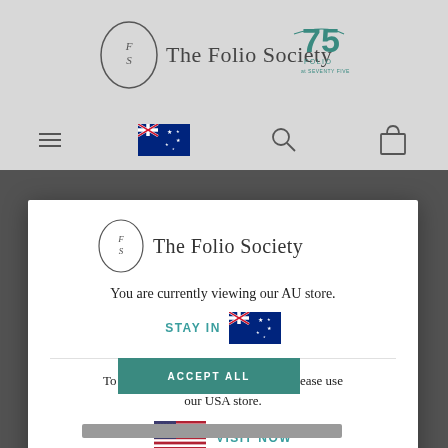[Figure (screenshot): The Folio Society website header with logo, 75th anniversary badge, navigation bar with hamburger menu, Australian flag, search icon, and shopping bag icon. Background is grey indicating a dimmed website behind a modal dialog.]
[Figure (logo): The Folio Society logo inside modal: circular FS monogram and text 'The Folio Society']
You are currently viewing our AU store.
STAY IN
[Figure (illustration): Australian flag emoji/icon]
To be able to deliver to your region please use our USA store.
[Figure (illustration): US flag emoji/icon]
VISIT NOW
ACCEPT ALL